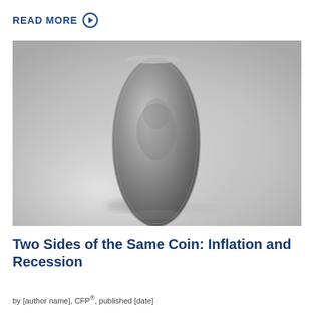READ MORE ❯
[Figure (photo): A silver coin balanced on its edge on a light gray surface, photographed close up with shallow depth of field.]
Two Sides of the Same Coin: Inflation and Recession
by [author name], CFP®, published [date]